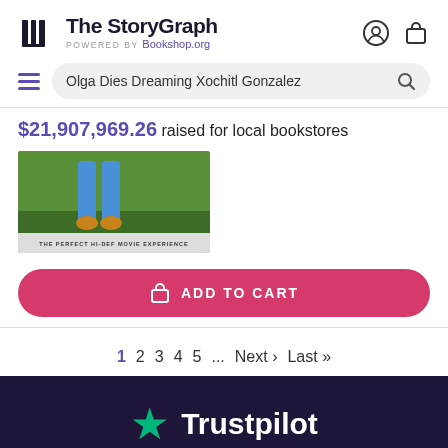The StoryGraph POWERED BY Bookshop.org
Olga Dies Dreaming Xochitl Gonzalez
$21,907,969.26 raised for local bookstores
[Figure (photo): Book cover image showing feet on grass with a light blue band at the bottom reading 'THE PERFECT HI-DEF MOVIE EXPERIENCE']
ADD TO CART
1 2 3 4 5 ... Next › Last »
Trustpilot